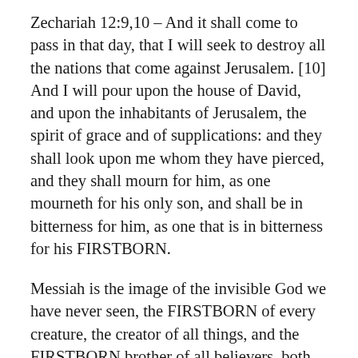Zechariah 12:9,10 – And it shall come to pass in that day, that I will seek to destroy all the nations that come against Jerusalem. [10] And I will pour upon the house of David, and upon the inhabitants of Jerusalem, the spirit of grace and of supplications: and they shall look upon me whom they have pierced, and they shall mourn for him, as one mourneth for his only son, and shall be in bitterness for him, as one that is in bitterness for his FIRSTBORN.
Messiah is the image of the invisible God we have never seen, the FIRSTBORN of every creature, the creator of all things, and the FIRSTBORN brother of all believers, both Jew and Gentile.